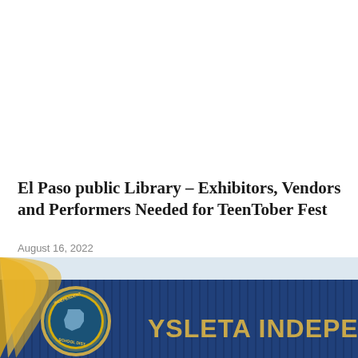El Paso public Library – Exhibitors, Vendors and Performers Needed for TeenTober Fest
August 16, 2022
[Figure (photo): Exterior photo of Ysleta Independent School District building showing the YSLETA INDEPENDENT text on a blue corrugated metal wall with the circular YSISD logo/seal on the left side, and yellow/gold decorative elements.]